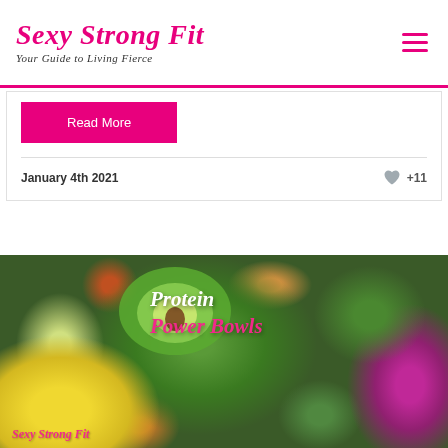Sexy Strong Fit — Your Guide to Living Fierce
Read More
January 4th 2021   +11
[Figure (photo): Overhead photo of colorful protein power bowls with avocado, greens, corn, tofu, shredded purple cabbage, and fresh vegetables. Text overlay reads 'Protein Power Bowls' and 'Sexy Strong Fit' brand watermark at bottom left.]